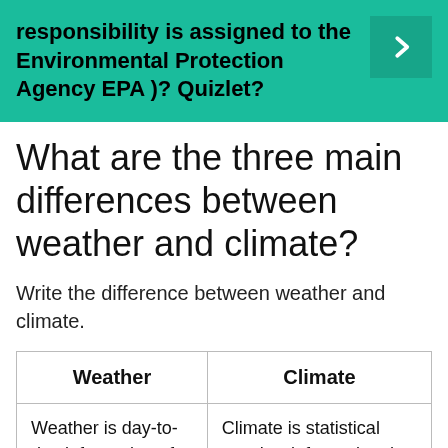responsibility is assigned to the Environmental Protection Agency EPA )? Quizlet?
What are the three main differences between weather and climate?
Write the difference between weather and climate.
| Weather | Climate |
| --- | --- |
| Weather is day-to-day information of the changes in the | Climate is statistical weather information that provides information about the |